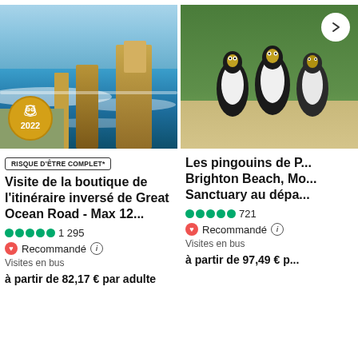[Figure (photo): Aerial view of Great Ocean Road cliffs and ocean with waves, with a TripAdvisor 2022 award badge in the bottom left corner]
RISQUE D'ÊTRE COMPLET*
Visite de la boutique de l'itinéraire inversé de Great Ocean Road - Max 12...
●●●●● 1 295
❤ Recommandé ⓘ
Visites en bus
à partir de 82,17 € par adulte
[Figure (photo): Photo of penguins on a sandy beach with green grass background, with a right-arrow navigation button in the top right]
Les pingouins de P... Brighton Beach, Mo... Sanctuary au dépa...
●●●●● 721
❤ Recommandé ⓘ
Visites en bus
à partir de 97,49 € p...